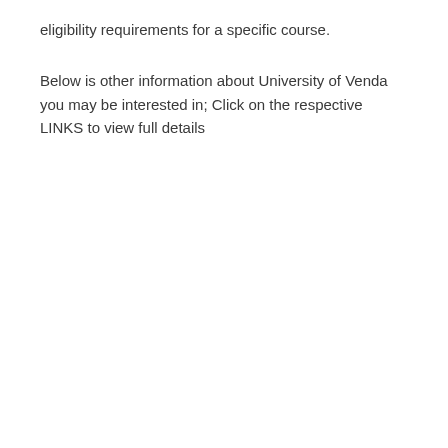eligibility requirements for a specific course.
Below is other information about University of Venda you may be interested in; Click on the respective LINKS to view full details